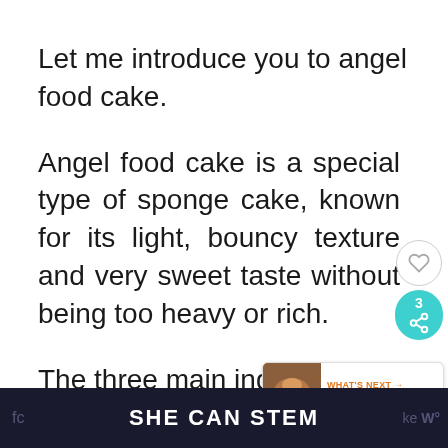Let me introduce you to angel food cake.
Angel food cake is a special type of sponge cake, known for its light, bouncy texture and very sweet taste without being too heavy or rich.
The three main ingredients of angel
SHE CAN STEM